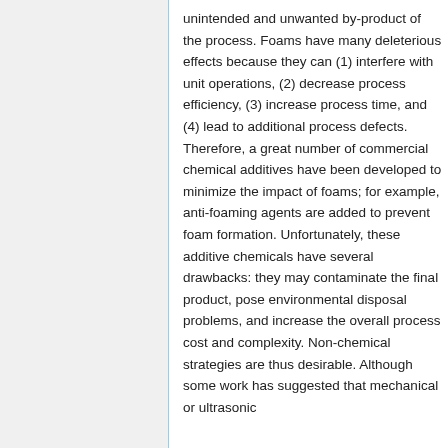unintended and unwanted by-product of the process. Foams have many deleterious effects because they can (1) interfere with unit operations, (2) decrease process efficiency, (3) increase process time, and (4) lead to additional process defects. Therefore, a great number of commercial chemical additives have been developed to minimize the impact of foams; for example, anti-foaming agents are added to prevent foam formation. Unfortunately, these additive chemicals have several drawbacks: they may contaminate the final product, pose environmental disposal problems, and increase the overall process cost and complexity. Non-chemical strategies are thus desirable. Although some work has suggested that mechanical or ultrasonic